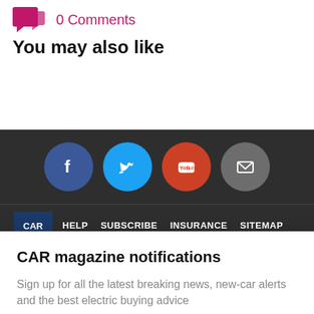0 Comments
You may also like
[Figure (screenshot): Dark footer with social media icons: Facebook, Twitter, YouTube, Email, and navigation links HELP, SUBSCRIBE, INSURANCE, SITEMAP with a logo]
CAR magazine notifications
Sign up for all the latest breaking news, new-car alerts and the best electric buying advice
NO THANKS
SIGN UP